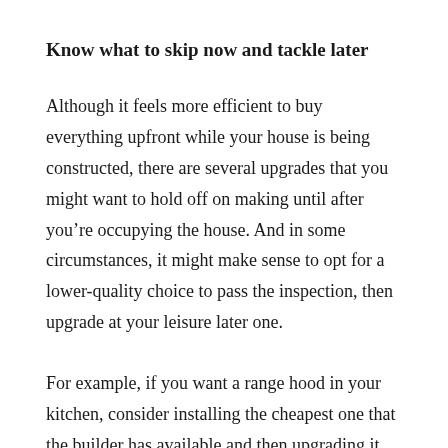Know what to skip now and tackle later
Although it feels more efficient to buy everything upfront while your house is being constructed, there are several upgrades that you might want to hold off on making until after you’re occupying the house. And in some circumstances, it might make sense to opt for a lower-quality choice to pass the inspection, then upgrade at your leisure later one.
For example, if you want a range hood in your kitchen, consider installing the cheapest one that the builder has available and then upgrading it later. You’ll have a